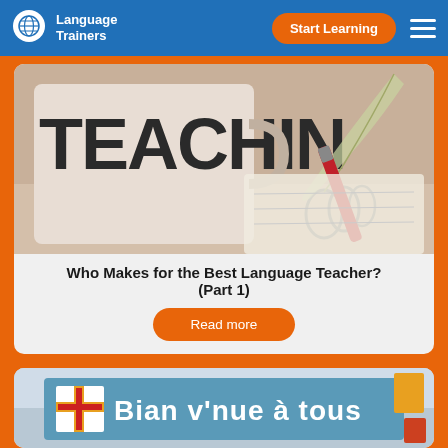Language Trainers | Start Learning
[Figure (photo): Close-up photo of a mug with 'TEACHING' text, a quill feather and red pen, and a spiral notebook on a desk]
Who Makes for the Best Language Teacher? (Part 1)
Read more
[Figure (photo): Photo of a blue sign with Guernsey flag showing 'Bian v'nue à tous']